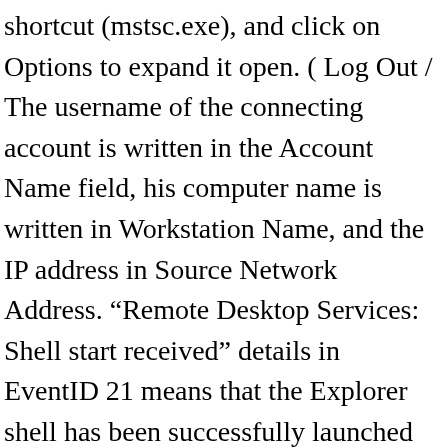shortcut (mstsc.exe), and click on Options to expand it open. ( Log Out /  The username of the connecting account is written in the Account Name field, his computer name is written in Workstation Name, and the IP address in Source Network Address. “Remote Desktop Services: Shell start received” details in EventID 21 means that the Explorer shell has been successfully launched in the RDP session. Log entry with EventID – 21 (Remote Desktop Services: Session logon succeeded). To retrieve the client logs: Ensure no